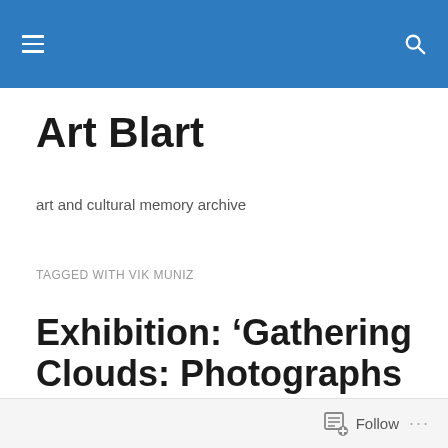Art Blart — navigation bar
Art Blart
art and cultural memory archive
TAGGED WITH VIK MUNIZ
Exhibition: ‘Gathering Clouds: Photographs from the Nineteenth Century and Today’ at George Eastman Museum, Rochester, NY
Follow